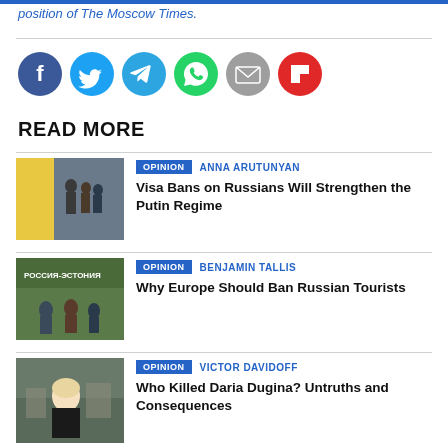position of The Moscow Times.
[Figure (illustration): Social media share icons: Facebook, Twitter, Telegram, WhatsApp, Email, Flipboard]
READ MORE
[Figure (photo): People boarding a bus with luggage, yellow bus visible in background]
OPINION  ANNA ARUTUNYAN
Visa Bans on Russians Will Strengthen the Putin Regime
[Figure (photo): Russia-Estonia border sign, people crossing with luggage]
OPINION  BENJAMIN TALLIS
Why Europe Should Ban Russian Tourists
[Figure (photo): Woman with short blonde hair in front of destroyed building]
OPINION  VICTOR DAVIDOFF
Who Killed Daria Dugina? Untruths and Consequences